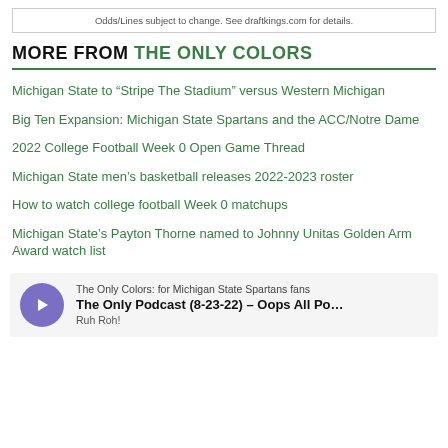Odds/Lines subject to change. See draftkings.com for details.
MORE FROM THE ONLY COLORS
Michigan State to “Stripe The Stadium” versus Western Michigan
Big Ten Expansion: Michigan State Spartans and the ACC/Notre Dame
2022 College Football Week 0 Open Game Thread
Michigan State men’s basketball releases 2022-2023 roster
How to watch college football Week 0 matchups
Michigan State’s Payton Thorne named to Johnny Unitas Golden Arm Award watch list
[Figure (other): Podcast player widget showing 'The Only Colors: for Michigan State Spartans fans' with episode title 'The Only Podcast (8-23-22) -- Oops All Po...' and tag 'Ruh Roh!' with a purple play button.]